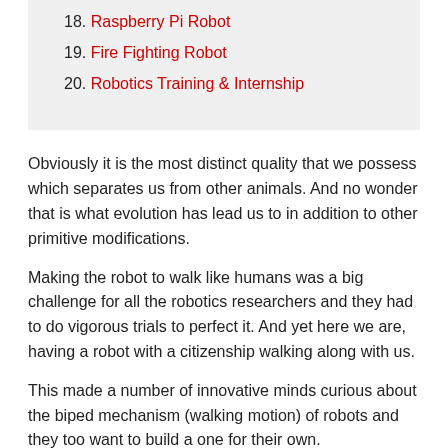18. Raspberry Pi Robot
19. Fire Fighting Robot
20. Robotics Training & Internship
Obviously it is the most distinct quality that we possess which separates us from other animals. And no wonder that is what evolution has lead us to in addition to other primitive modifications.
Making the robot to walk like humans was a big challenge for all the robotics researchers and they had to do vigorous trials to perfect it. And yet here we are, having a robot with a citizenship walking along with us.
This made a number of innovative minds curious about the biped mechanism (walking motion) of robots and they too want to build a one for their own.
So, if you are one such innovator who is looking to build